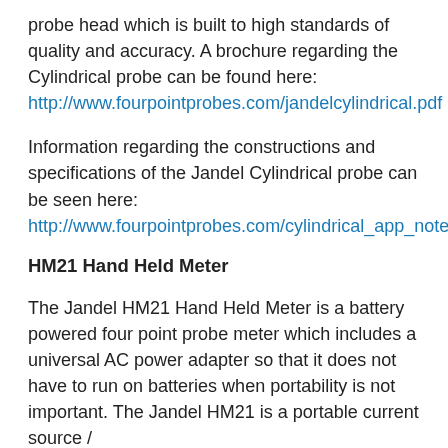probe head which is built to high standards of quality and accuracy. A brochure regarding the Cylindrical probe can be found here: http://www.fourpointprobes.com/jandelcylindrical.pdf
Information regarding the constructions and specifications of the Jandel Cylindrical probe can be seen here: http://www.fourpointprobes.com/cylindrical_app_notes.
HM21 Hand Held Meter
The Jandel HM21 Hand Held Meter is a battery powered four point probe meter which includes a universal AC power adapter so that it does not have to run on batteries when portability is not important. The Jandel HM21 is a portable current source /